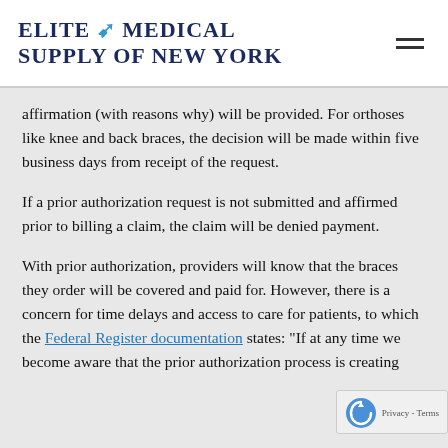Elite Medical Supply of New York
affirmation (with reasons why) will be provided. For orthoses like knee and back braces, the decision will be made within five business days from receipt of the request.
If a prior authorization request is not submitted and affirmed prior to billing a claim, the claim will be denied payment.
With prior authorization, providers will know that the braces they order will be covered and paid for. However, there is a concern for time delays and access to care for patients, to which the Federal Register documentation states: "If at any time we become aware that the prior authorization process is creating